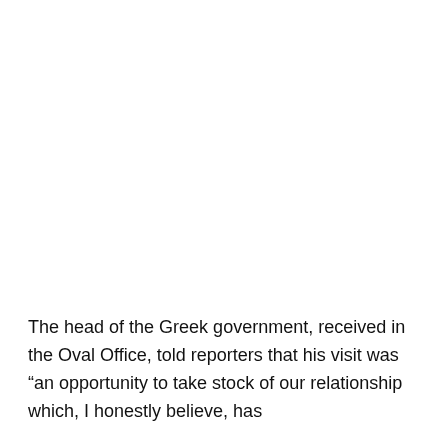The head of the Greek government, received in the Oval Office, told reporters that his visit was “an opportunity to take stock of our relationship which, I honestly believe, has